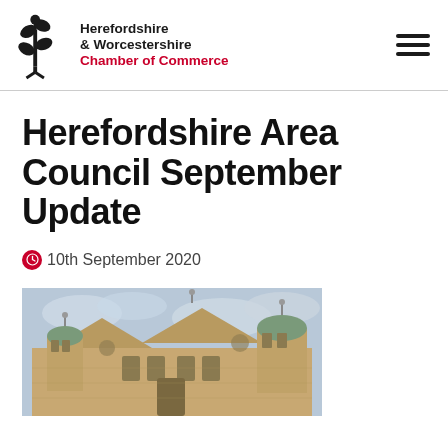Herefordshire & Worcestershire Chamber of Commerce
Herefordshire Area Council September Update
10th September 2020
[Figure (photo): Exterior view of an ornate historic stone building with baroque-style architectural details, domed turrets, and decorative stonework against a cloudy sky.]